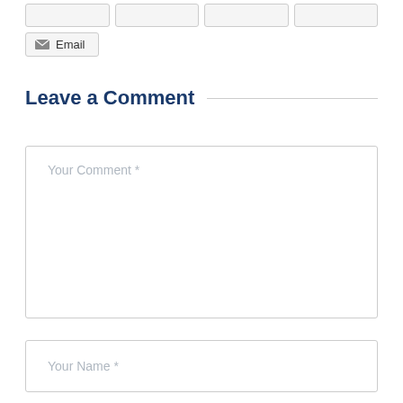[Figure (screenshot): Row of partially visible button stubs at the top of the page]
✉ Email
Leave a Comment
Your Comment *
Your Name *